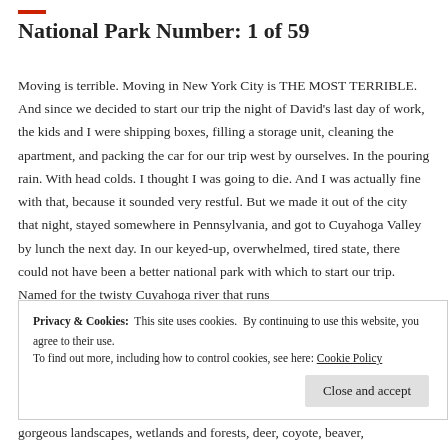National Park Number: 1 of 59
Moving is terrible. Moving in New York City is THE MOST TERRIBLE. And since we decided to start our trip the night of David's last day of work, the kids and I were shipping boxes, filling a storage unit, cleaning the apartment, and packing the car for our trip west by ourselves. In the pouring rain. With head colds. I thought I was going to die. And I was actually fine with that, because it sounded very restful. But we made it out of the city that night, stayed somewhere in Pennsylvania, and got to Cuyahoga Valley by lunch the next day. In our keyed-up, overwhelmed, tired state, there could not have been a better national park with which to start our trip. Named for the twisty Cuyahoga river that runs
Privacy & Cookies:  This site uses cookies.  By continuing to use this website, you agree to their use.
To find out more, including how to control cookies, see here: Cookie Policy
gorgeous landscapes, wetlands and forests, deer, coyote, beaver,